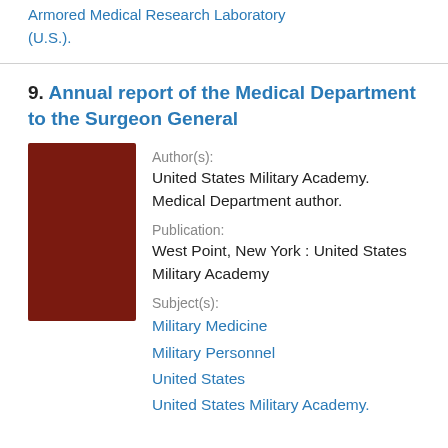United States
Armored Medical Research Laboratory (U.S.).
9. Annual report of the Medical Department to the Surgeon General
[Figure (photo): Dark red/maroon book cover thumbnail]
Author(s):
United States Military Academy. Medical Department author.
Publication:
West Point, New York : United States Military Academy
Subject(s):
Military Medicine
Military Personnel
United States
United States Military Academy.